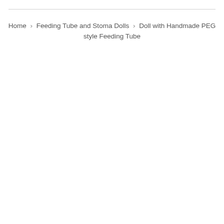Home › Feeding Tube and Stoma Dolls › Doll with Handmade PEG style Feeding Tube